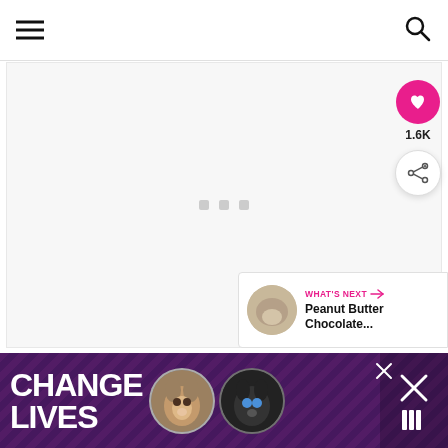[Figure (screenshot): Website navigation bar with hamburger menu icon on the left and search icon on the right]
[Figure (screenshot): Main content loading area with three grey placeholder dots in the center]
[Figure (screenshot): Heart/like button (pink circular button with heart icon), like count showing 1.6K, and share button on the right side]
[Figure (screenshot): What's Next panel showing Peanut Butter Chocolate... with a thumbnail image]
[Figure (screenshot): Bottom advertisement banner with purple background showing CHANGE LIVES text with cat images]